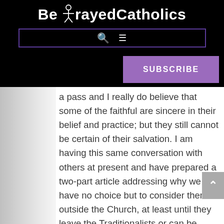BetrayedCatholics
[Figure (screenshot): Navigation bar with search icon and hamburger menu icon, dark border on black background]
[Figure (screenshot): Purple SUBSCRIBE button]
a pass and I really do believe that some of the faithful are sincere in their belief and practice; but they still cannot be certain of their salvation. I am having this same conversation with others at present and have prepared a two-part article addressing why we have no choice but to consider them outside the Church, at least until they leave the Traditionalists or can be presented to a canonically elected Roman Pontiff.